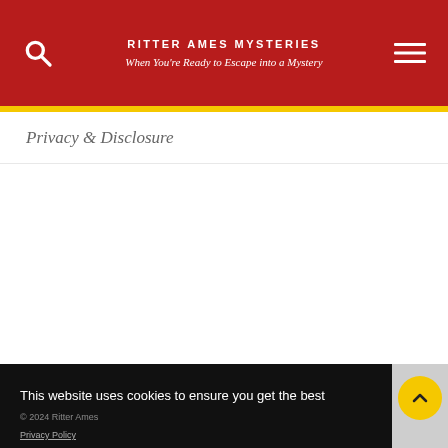RITTER AMES MYSTERIES
When You're Ready to Escape into a Mystery
Privacy & Disclosure
This website uses cookies to ensure you get the best experience on our website.
Learn more
Got it!
Privacy Policy